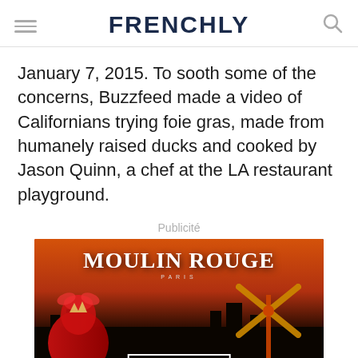FRENCHLY
January 7, 2015. To sooth some of the concerns, Buzzfeed made a video of Californians trying foie gras, made from humanely raised ducks and cooked by Jason Quinn, a chef at the LA restaurant playground.
Publicité
[Figure (photo): Advertisement for Moulin Rouge Paris showing a dancer in red costume with windmill, and a BOOK NOW button]